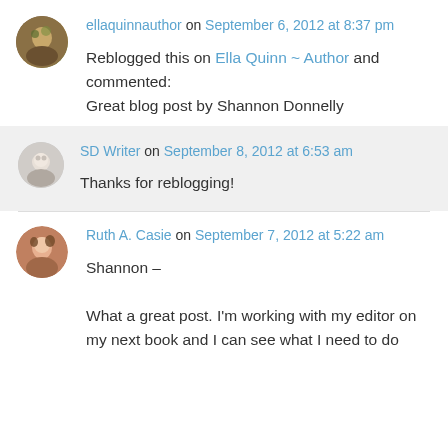ellaquinnauthor on September 6, 2012 at 8:37 pm
Reblogged this on Ella Quinn ~ Author and commented:
Great blog post by Shannon Donnelly
SD Writer on September 8, 2012 at 6:53 am
Thanks for reblogging!
Ruth A. Casie on September 7, 2012 at 5:22 am
Shannon –

What a great post. I'm working with my editor on my next book and I can see what I need to do